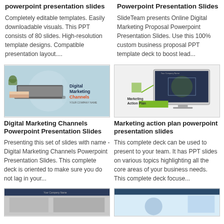powerpoint presentation slides
Powerpoint Presentation Slides
Completely editable templates. Easily downloadable visuals. This PPT consists of 80 slides. High-resolution template designs. Compatible presentation layout....
SlideTeam presents Online Digital Marketing Proposal Powerpoint Presentation Slides. Use this 100% custom business proposal PPT template deck to boost lead...
[Figure (screenshot): Digital Marketing Channels PowerPoint presentation slide thumbnail showing a laptop and marketing graphics with bold title text]
[Figure (screenshot): Marketing Action Plan PowerPoint presentation slide thumbnail showing a monitor with charts and green action plan label]
Digital Marketing Channels Powerpoint Presentation Slides
Marketing action plan powerpoint presentation slides
Presenting this set of slides with name - Digital Marketing Channels Powerpoint Presentation Slides. This complete deck is oriented to make sure you do not lag in your...
This complete deck can be used to present to your team. It has PPT slides on various topics highlighting all the core areas of your business needs. This complete deck focuse...
[Figure (screenshot): Bottom left PowerPoint presentation slide thumbnail - partially visible]
[Figure (screenshot): Bottom right PowerPoint presentation slide thumbnail - partially visible]